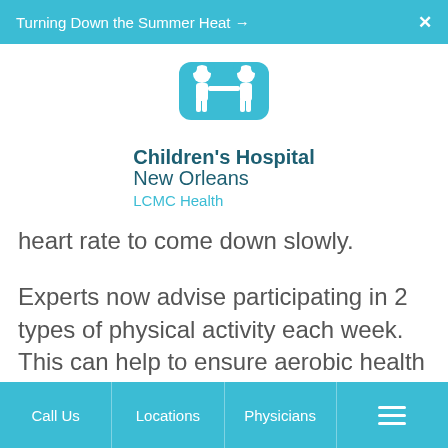Turning Down the Summer Heat →   ✕
[Figure (logo): Children's Hospital New Orleans LCMC Health logo — two child figures in teal above the hospital name in dark teal and LCMC Health in light teal]
heart rate to come down slowly.
Experts now advise participating in 2 types of physical activity each week. This can help to ensure aerobic health and muscle strengthening. Muscle strengthening activities include lifting weights, using resistance bands
Call Us   Locations   Physicians   ☰